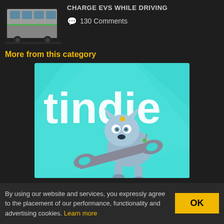[Figure (photo): Bus at a stop, dark background, partial view of a city bus]
CHARGE EVS WHILE DRIVING
130 Comments
More from this category
[Figure (logo): Tindie logo banner - teal background with large white 'tindie' text and cartoon robot dog holding a wrench]
By using our website and services, you expressly agree to the placement of our performance, functionality and advertising cookies. Learn more